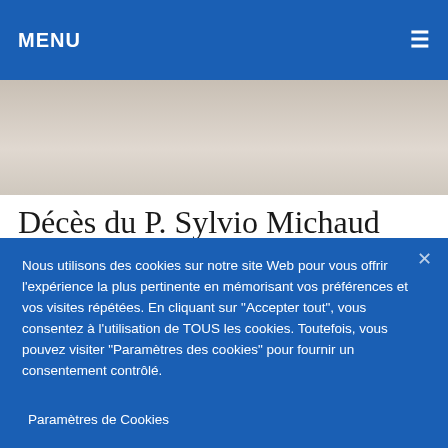MENU
[Figure (photo): Partial photo of a person wearing a white shirt/jacket, visible from chest down, light background]
Décès du P. Sylvio Michaud
Nous utilisons des cookies sur notre site Web pour vous offrir l'expérience la plus pertinente en mémorisant vos préférences et vos visites répétées. En cliquant sur "Accepter tout", vous consentez à l'utilisation de TOUS les cookies. Toutefois, vous pouvez visiter "Paramètres des cookies" pour fournir un consentement contrôlé.
En savoir plus   Refuser   Accepter
Paramètres de Cookies